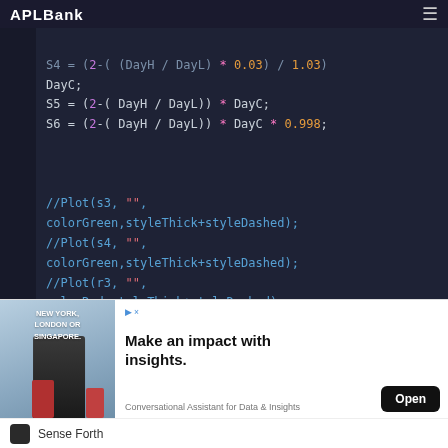APLBank
[Figure (screenshot): Code editor screenshot showing trading script with variables S4, S5, S6 calculations using DayH, DayL, DayC; Plot function calls commented out; pivot, NW, J, piv, SECTION_END() code]
[Figure (infographic): Advertisement banner: Make an impact with insights. New York, London or Singapore. Open button. Conversational Assistant for Data & Insights.]
Sense Forth